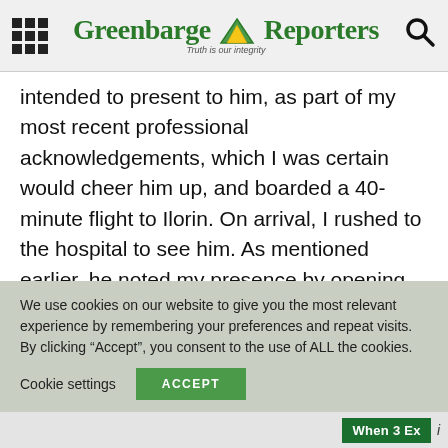Greenbarge Reporters — Truth is our integrity
intended to present to him, as part of my most recent professional acknowledgements, which I was certain would cheer him up, and boarded a 40-minute flight to Ilorin. On arrival, I rushed to the hospital to see him. As mentioned earlier, he noted my presence by opening his eyes, but he could not talk.
As I collected the rosary of prayer beads from his hands, he was still using his fingers consciously in
We use cookies on our website to give you the most relevant experience by remembering your preferences and repeat visits. By clicking “Accept”, you consent to the use of ALL the cookies.
Cookie settings   ACCEPT
When 3 Ex